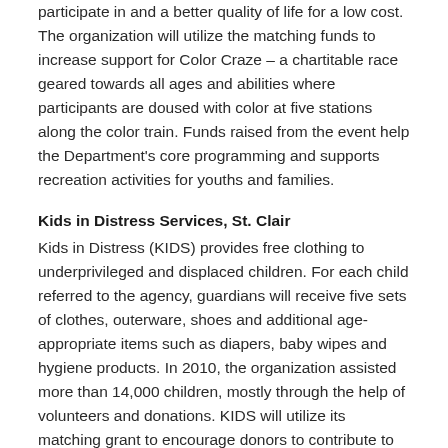participate in and a better quality of life for a low cost. The organization will utilize the matching funds to increase support for Color Craze – a chartitable race geared towards all ages and abilities where participants are doused with color at five stations along the color train. Funds raised from the event help the Department's core programming and supports recreation activities for youths and families.
Kids in Distress Services, St. Clair
Kids in Distress (KIDS) provides free clothing to underprivileged and displaced children. For each child referred to the agency, guardians will receive five sets of clothes, outerware, shoes and additional age-appropriate items such as diapers, baby wipes and hygiene products. In 2010, the organization assisted more than 14,000 children, mostly through the help of volunteers and donations. KIDS will utilize its matching grant to encourage donors to contribute to store operations and purchase greatly needed new shoes, socks and underwear for children in need.